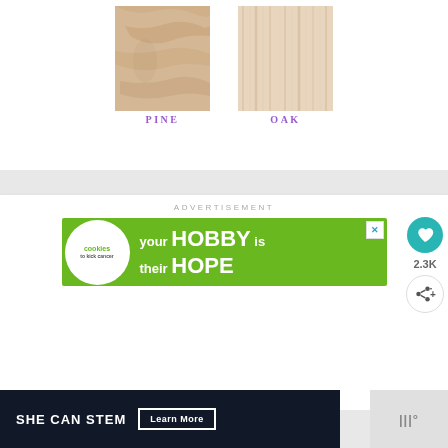[Figure (illustration): Two wood texture samples labeled PINE and OAK. Pine shows a beige/tan wood grain texture. Oak shows a lighter, vertical grain wood texture.]
ADVERTISEMENT
[Figure (illustration): Advertisement banner for 'cookies to kick cancer' charity with green background showing a heart-shaped cookie. Text reads 'your HOBBY is their HOPE']
[Figure (illustration): Dark banner advertisement reading 'SHE CAN STEM' with a 'Learn More' button]
[Figure (illustration): Sidebar with heart/save button showing 2.3K count and a share button]